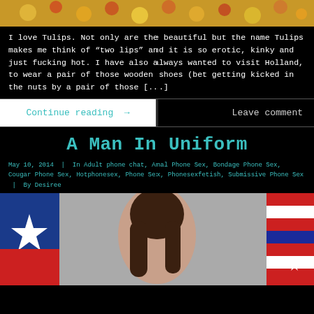[Figure (photo): Top portion of a floral image showing colorful flowers (tulips) in orange, yellow and red tones]
I love Tulips. Not only are the beautiful but the name Tulips makes me think of "two lips" and it is so erotic, kinky and just fucking hot. I have also always wanted to visit Holland, to wear a pair of those wooden shoes (bet getting kicked in the nuts by a pair of those [...]
Continue reading →
Leave comment
A Man In Uniform
May 10, 2014 | In Adult phone chat, Anal Phone Sex, Bondage Phone Sex, Cougar Phone Sex, Hotphonesex, Phone Sex, Phonesexfetish, Submissive Phone Sex | By Desiree
[Figure (photo): Woman with long dark hair, back turned to camera, with flags visible (one with a star, one with red and blue stripes)]